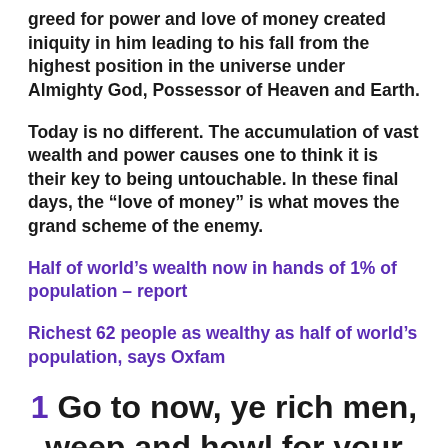greed for power and love of money created iniquity in him leading to his fall from the highest position in the universe under Almighty God, Possessor of Heaven and Earth.
Today is no different. The accumulation of vast wealth and power causes one to think it is their key to being untouchable. In these final days, the “love of money” is what moves the grand scheme of the enemy.
Half of world’s wealth now in hands of 1% of population – report
Richest 62 people as wealthy as half of world’s population, says Oxfam
1 Go to now, ye rich men, weep and howl for your